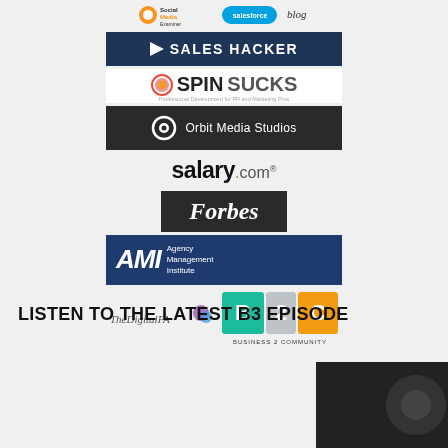[Figure (logo): Collection of publication and brand logos: Social Media Examiner, Salesforce Blog, Sales Hacker, Spin Sucks, Orbit Media Studios, salary.com, Forbes, AMI Agency Management Institute, TheDigitalFA, Business 2 Community]
LISTEN TO THE LATEST B3 EPISODE
[Figure (photo): Podcast episode thumbnail, dark background, partially visible]